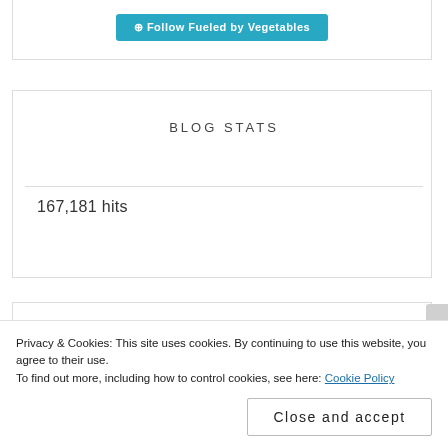[Figure (screenshot): Follow button for 'Fueled by Vegetables' blog, teal/blue rounded button with follow icon]
BLOG STATS
167,181 hits
Privacy & Cookies: This site uses cookies. By continuing to use this website, you agree to their use.
To find out more, including how to control cookies, see here: Cookie Policy
Close and accept